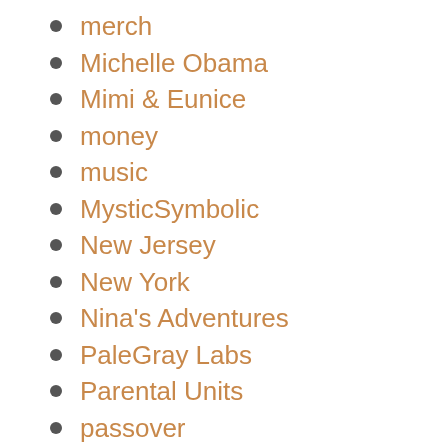merch
Michelle Obama
Mimi & Eunice
money
music
MysticSymbolic
New Jersey
New York
Nina's Adventures
PaleGray Labs
Parental Units
passover
philosophy
politics
procrastiduction
psychology